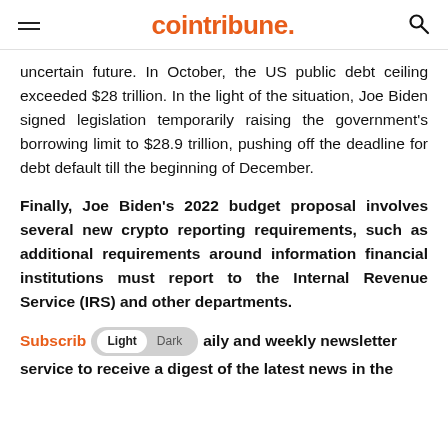cointribune.
uncertain future. In October, the US public debt ceiling exceeded $28 trillion. In the light of the situation, Joe Biden signed legislation temporarily raising the government's borrowing limit to $28.9 trillion, pushing off the deadline for debt default till the beginning of December.
Finally, Joe Biden's 2022 budget proposal involves several new crypto reporting requirements, such as additional requirements around information financial institutions must report to the Internal Revenue Service (IRS) and other departments.
Subscribe to our daily and weekly newsletter service to receive a digest of the latest news in the